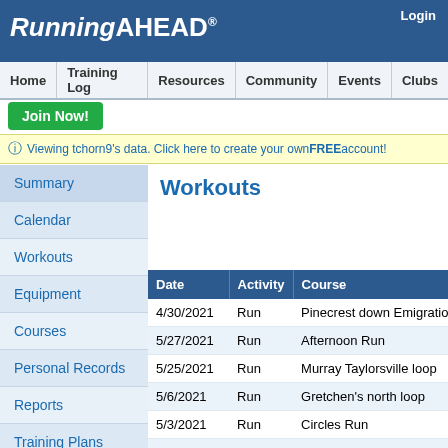RunningAHEAD® Login
Home | Training Log | Resources | Community | Events | Clubs
Join Now!
Viewing tchorn9's data. Click here to create your own FREE account!
Summary
Calendar
Workouts
Equipment
Courses
Personal Records
Reports
Training Plans
About Me
Workouts
| Date | Activity | Course |
| --- | --- | --- |
| 4/30/2021 | Run | Pinecrest down Emigration to Na… |
| 5/27/2021 | Run | Afternoon Run |
| 5/25/2021 | Run | Murray Taylorsville loop |
| 5/6/2021 | Run | Gretchen's north loop |
| 5/3/2021 | Run | Circles Run |
| 11/30/2020 | Run | JRT |
| 4/27/2021 | Run | Hill kill route home |